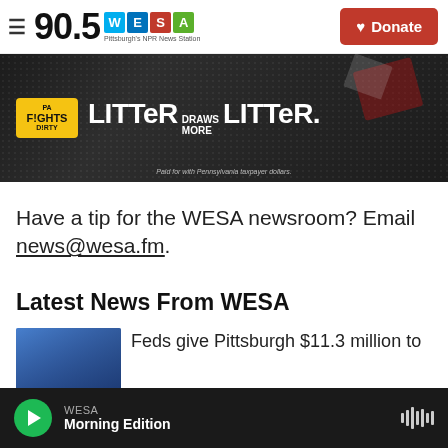90.5 WESA - Pittsburgh's NPR News Station
[Figure (photo): PA Fights Dirty anti-litter advertisement banner reading 'LITTER DRAWS MORE LITTER.' with yellow PA Fights Dirty badge. Paid for with Pennsylvania taxpayer dollars.]
Have a tip for the WESA newsroom? Email news@wesa.fm.
Latest News From WESA
Feds give Pittsburgh $11.3 million to
WESA - Morning Edition